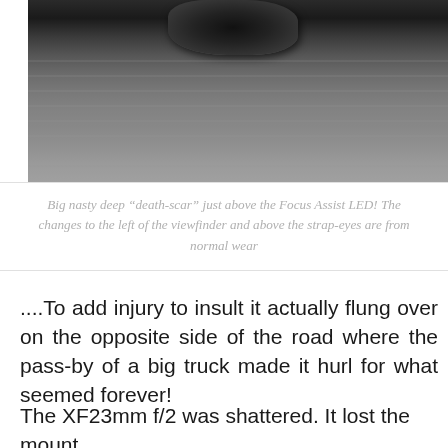[Figure (photo): Black and white photograph showing a damaged camera body with a deep 'death-scar' visible above the Focus Assist LED, placed on a wooden surface]
Big nasty deep “death-scar” just above the Focus Assist LED! The changes to the left of the viewfinder and above the strap-eyes are from normal wear
....To add injury to insult it actually flung over on the opposite side of the road where the pass-by of a big truck made it hurl for what seemed forever!
The XF23mm f/2 was shattered. It lost the mount,